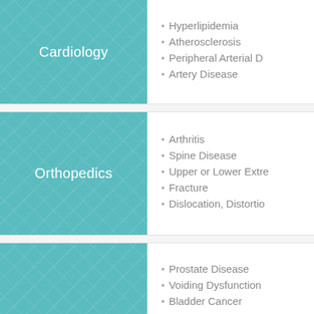Cardiology
Hyperlipidemia
Atherosclerosis
Peripheral Arterial D
Artery Disease
Orthopedics
Arthritis
Spine Disease
Upper or Lower Extre
Fracture
Dislocation, Distortio
Prostate Disease
Voiding Dysfunction
Bladder Cancer